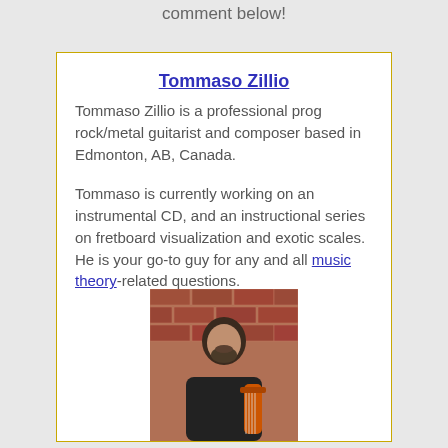comment below!
Tommaso Zillio
Tommaso Zillio is a professional prog rock/metal guitarist and composer based in Edmonton, AB, Canada.
Tommaso is currently working on an instrumental CD, and an instructional series on fretboard visualization and exotic scales. He is your go-to guy for any and all music theory-related questions.
[Figure (photo): Photo of Tommaso Zillio holding a guitar in front of a brick wall]